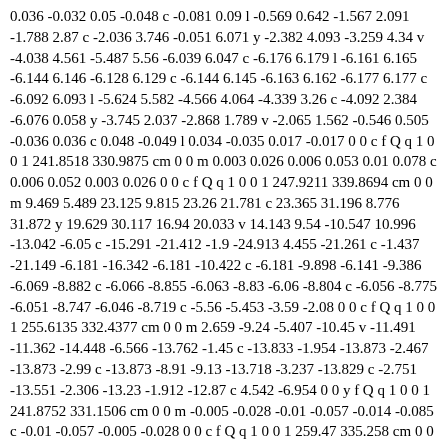0.036 -0.032 0.05 -0.048 c -0.081 0.09 l -0.569 0.642 -1.567 2.091 -1.788 2.87 c -2.036 3.746 -0.051 6.071 y -2.382 4.093 -3.259 4.34 v -4.038 4.561 -5.487 5.56 -6.039 6.047 c -6.176 6.179 l -6.161 6.165 -6.144 6.146 -6.128 6.129 c -6.144 6.145 -6.163 6.162 -6.177 6.177 c -6.092 6.093 l -5.624 5.582 -4.566 4.064 -4.339 3.26 c -4.092 2.384 -6.076 0.058 y -3.745 2.037 -2.868 1.789 v -2.065 1.562 -0.546 0.505 -0.036 0.036 c 0.048 -0.049 l 0.034 -0.035 0.017 -0.017 0 0 c f Q q 1 0 0 1 241.8518 330.9875 cm 0 0 m 0.003 0.026 0.006 0.053 0.01 0.078 c 0.006 0.052 0.003 0.026 0 0 c f Q q 1 0 0 1 247.9211 339.8694 cm 0 0 m 9.469 5.489 23.125 9.815 23.26 21.781 c 23.365 31.196 8.776 31.872 y 19.629 30.117 16.94 20.033 v 14.143 9.54 -10.547 10.996 -13.042 -6.05 c -15.291 -21.412 -1.9 -24.913 4.455 -21.261 c -1.437 -21.149 -6.181 -16.342 -6.181 -10.422 c -6.181 -9.898 -6.141 -9.386 -6.069 -8.882 c -6.066 -8.855 -6.063 -8.83 -6.06 -8.804 c -6.056 -8.775 -6.051 -8.747 -6.046 -8.719 c -5.56 -5.453 -3.59 -2.08 0 0 c f Q q 1 0 0 1 255.6135 332.4377 cm 0 0 m 2.659 -9.24 -5.407 -10.45 v -11.491 -11.362 -14.448 -6.566 -13.762 -1.45 c -13.833 -1.954 -13.873 -2.467 -13.873 -2.99 c -13.873 -8.91 -9.13 -13.718 -3.237 -13.829 c -2.751 -13.551 -2.306 -13.23 -1.912 -12.87 c 4.542 -6.954 0 0 y f Q q 1 0 0 1 241.8752 331.1506 cm 0 0 m -0.005 -0.028 -0.01 -0.057 -0.014 -0.085 c -0.01 -0.057 -0.005 -0.028 0 0 c f Q q 1 0 0 1 259.47 335.258 cm 0 0 m 0.027 0.001 0.057 0.003 0.08 0.002 c -0.14 0.009 l -0.992 0.084 -2.998 0.612 -3.818 1.27 c -4.74 2.008 -5.02 7.072 y -5.308 2.008 -6.229 1.27 v -7.049 0.612